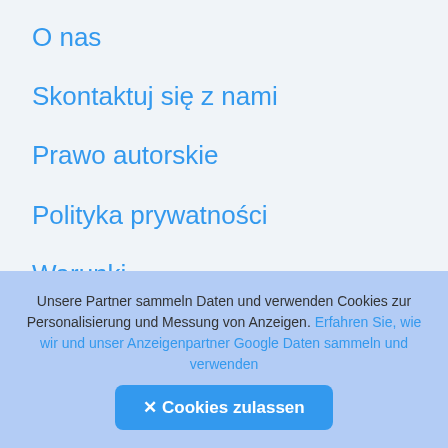O nas
Skontaktuj się z nami
Prawo autorskie
Polityka prywatności
Warunki
FAQs
Cookie Policy
[Figure (other): Scroll-to-top button: dark rounded square with a white circled upward arrow icon]
Unsere Partner sammeln Daten und verwenden Cookies zur Personalisierung und Messung von Anzeigen. Erfahren Sie, wie wir und unser Anzeigenpartner Google Daten sammeln und verwenden ✕ Cookies zulassen